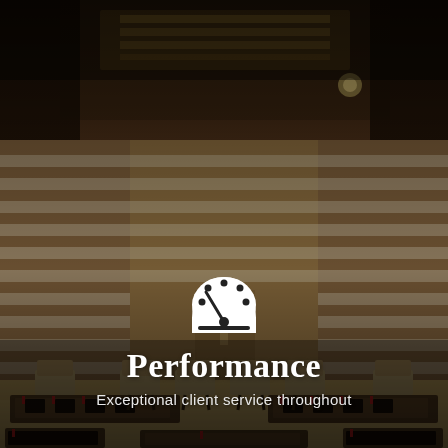[Figure (photo): Interior of an upscale conference/meeting room with wooden paneling walls featuring horizontal stripe patterns, a decorative ceiling with warm lighting, and rows of chairs and tables arranged in a U-shape. The room has a warm brown and tan color palette.]
[Figure (infographic): A white speedometer/dashboard icon with dots arranged in a circular gauge pattern and a needle indicator, centered above the title text.]
Performance
Exceptional client service throughout